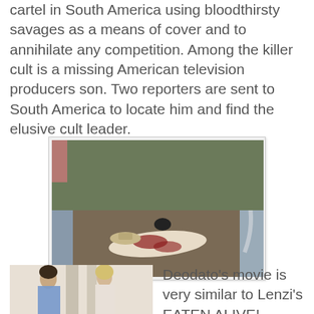cartel in South America using bloodthirsty savages as a means of cover and to annihilate any competition. Among the killer cult is a missing American television producers son. Two reporters are sent to South America to locate him and find the elusive cult leader.
[Figure (photo): A movie still showing a person lying on the ground with others standing around them.]
[Figure (photo): A movie still showing two people standing indoors.]
Deodato's movie is very similar to Lenzi's EATEN ALIVE! (1980)